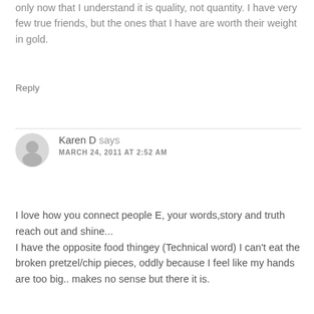only now that I understand it is quality, not quantity. I have very few true friends, but the ones that I have are worth their weight in gold.
Reply
Karen D says
MARCH 24, 2011 AT 2:52 AM
I love how you connect people E, your words,story and truth reach out and shine...
I have the opposite food thingey (Technical word) I can't eat the broken pretzel/chip pieces, oddly because I feel like my hands are too big.. makes no sense but there it is.